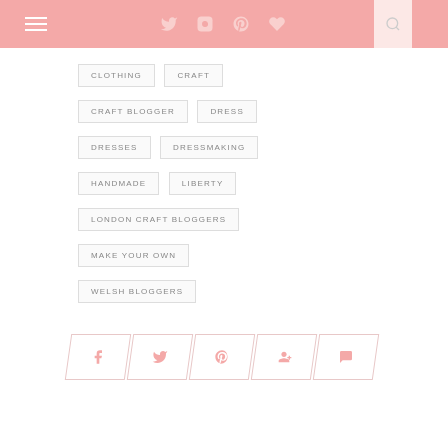Navigation bar with menu, social icons, and search
CLOTHING
CRAFT
CRAFT BLOGGER
DRESS
DRESSES
DRESSMAKING
HANDMADE
LIBERTY
LONDON CRAFT BLOGGERS
MAKE YOUR OWN
WELSH BLOGGERS
[Figure (infographic): Social share buttons row: Facebook, Twitter, Pinterest, Google+, Comment — styled as parallelogram/skewed buttons in pink outline]